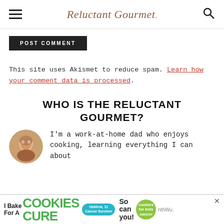Reluctant Gourmet
[Figure (other): POST COMMENT button, dark background with white uppercase text]
This site uses Akismet to reduce spam. Learn how your comment data is processed.
WHO IS THE RELUCTANT GOURMET?
[Figure (photo): Circular avatar photo of an older man, the site author]
I'm a work-at-home dad who enjoys cooking, learning everything I can about
[Figure (other): Advertisement banner: I Bake Cookies For A Cure - cookies for kids cancer]